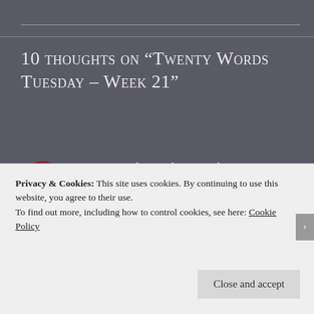10 thoughts on “Twenty Words Tuesday – Week 21”
[Figure (logo): Circular dark red logo with stylized double-B letters and text 'Bulbul's Bubble']
Twenty Words Tuesday – Week 22 – Bulbul’s Bubble
February 22, 2021 Reply
Privacy & Cookies: This site uses cookies. By continuing to use this website, you agree to their use.
To find out more, including how to control cookies, see here: Cookie Policy
Close and accept